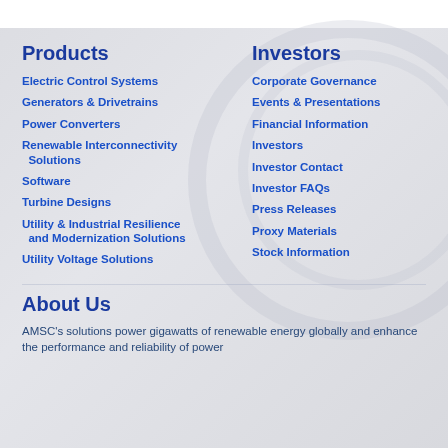Products
Electric Control Systems
Generators & Drivetrains
Power Converters
Renewable Interconnectivity Solutions
Software
Turbine Designs
Utility & Industrial Resilience and Modernization Solutions
Utility Voltage Solutions
Investors
Corporate Governance
Events & Presentations
Financial Information
Investors
Investor Contact
Investor FAQs
Press Releases
Proxy Materials
Stock Information
About Us
AMSC's solutions power gigawatts of renewable energy globally and enhance the performance and reliability of power